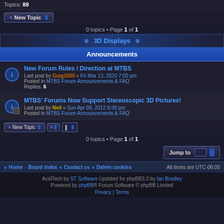Topics: 88
0 topics • Page 1 of 1
3D Displays
Announcements
New Forum Rules / Direction at MTBS
Last post by Guig2000 « Fri Mar 13, 2020 7:00 pm
Posted in MTBS Forum Announcements & FAQ
Replies: 6
MTBS' Forums Now Support Stereoscopic 3D Pictures!
Last post by Neil « Sun Apr 08, 2012 9:36 pm
Posted in MTBS Forum Announcements & FAQ
0 topics • Page 1 of 1
Jump to
Home • Board index • Contact us • Delete cookies • All times are UTC-06:00
AcidTech by ST Software Updated for phpBB3.3 by Ian Bradley
Powered by phpBB® Forum Software © phpBB Limited
Privacy | Terms